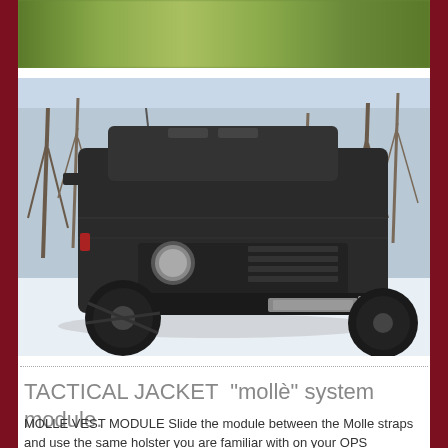[Figure (photo): Motion-blurred green landscape photo at top of page]
[Figure (photo): Black armored tactical vehicle (FJ Cruiser style) parked in snowy outdoor setting with bare trees in background, featuring large off-road tires and a winch mounted on the front bumper]
TACTICAL JACKET “mollè” system module.
MOLLE VEST MODULE Slide the module between the Molle straps and use the same holster you are familiar with on your OPS